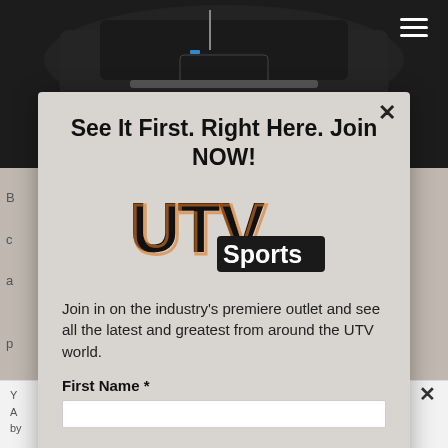[Figure (photo): Dark vehicle/UTV photograph visible behind modal overlay, with hamburger menu icon in top right]
See It First. Right Here. Join NOW!
[Figure (logo): UTV Sports logo — large bold black UTV lettering with Sports in white on dark background badge]
Join in on the industry's premiere outlet and see all the latest and greatest from around the UTV world.
First Name *
You ... now ... ing by ...